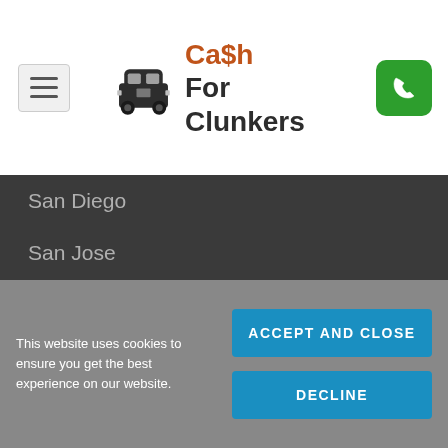Cash For Clunkers
San Diego
San Jose
San Francisco
Trending Topics
Cash for Clunkers
California CAP
Cash for Junk Cars
This website uses cookies to ensure you get the best experience on our website.
ACCEPT AND CLOSE
DECLINE